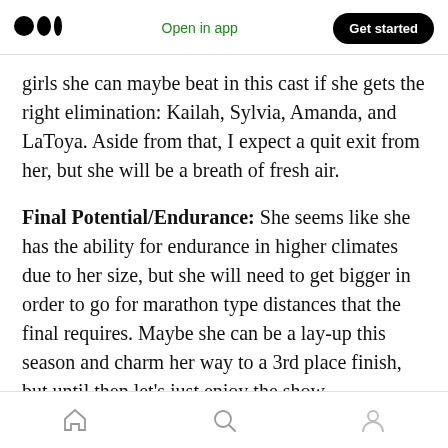Medium logo | Open in app | Get started
girls she can maybe beat in this cast if she gets the right elimination: Kailah, Sylvia, Amanda, and LaToya. Aside from that, I expect a quit exit from her, but she will be a breath of fresh air.
Final Potential/Endurance: She seems like she has the ability for endurance in higher climates due to her size, but she will need to get bigger in order to go for marathon type distances that the final requires. Maybe she can be a lay-up this season and charm her way to a 3rd place finish, but until then let's just enjoy the show.
Home | Search | Profile